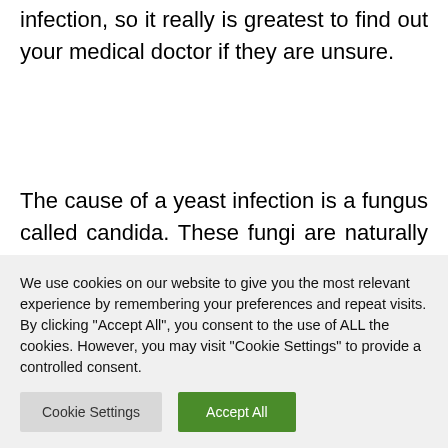infection, so it really is greatest to find out your medical doctor if they are unsure.
The cause of a yeast infection is a fungus called candida. These fungi are naturally present inside the body, but may cause infection if they are overexposed. Antibiotics may cause an overgrowth of candida. Broad-spectrum
We use cookies on our website to give you the most relevant experience by remembering your preferences and repeat visits. By clicking "Accept All", you consent to the use of ALL the cookies. However, you may visit "Cookie Settings" to provide a controlled consent.